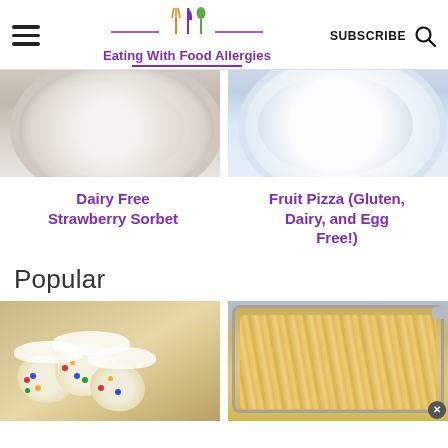Eating With Food Allergies — SUBSCRIBE
[Figure (photo): Top portion of a bowl with white/silver decorative elements on a patterned background]
[Figure (photo): Top portion of a white plate on a blue background]
Dairy Free Strawberry Sorbet
Fruit Pizza (Gluten, Dairy, and Egg Free!)
Popular
[Figure (photo): Frosted cookies with colorful rainbow sprinkles]
[Figure (photo): Cheesy casserole dish with shredded cheese on top]